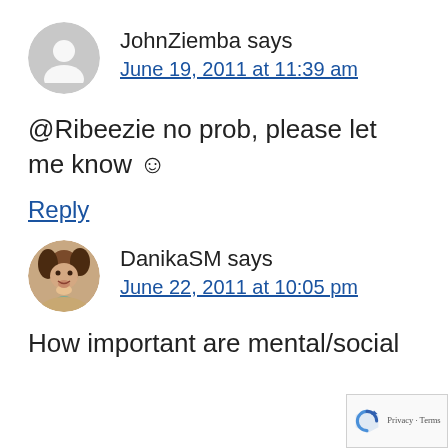JohnZiemba says
June 19, 2011 at 11:39 am
@Ribeezie no prob, please let me know ☺
Reply
[Figure (photo): Profile photo of DanikaSM, a woman with dark hair, smiling]
DanikaSM says
June 22, 2011 at 10:05 pm
How important are mental/social